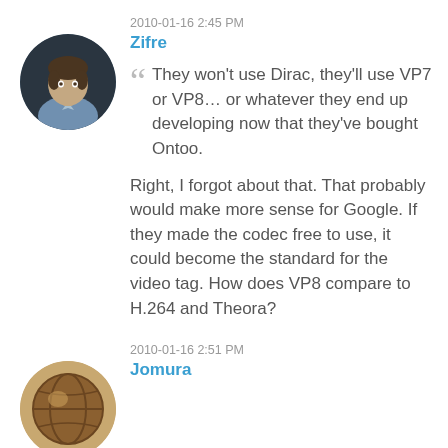2010-01-16 2:45 PM
Zifre
[Figure (photo): Circular avatar photo of a young man in a light blue shirt against a dark background]
They won't use Dirac, they'll use VP7 or VP8... or whatever they end up developing now that they've bought Ontoo.
Right, I forgot about that. That probably would make more sense for Google. If they made the codec free to use, it could become the standard for the video tag. How does VP8 compare to H.264 and Theora?
2010-01-16 2:51 PM
Jomura
[Figure (photo): Circular avatar with a brown globe/earth logo icon]